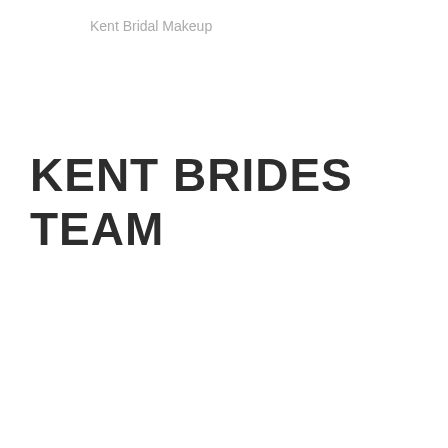Kent Bridal Makeup
KENT BRIDES TEAM